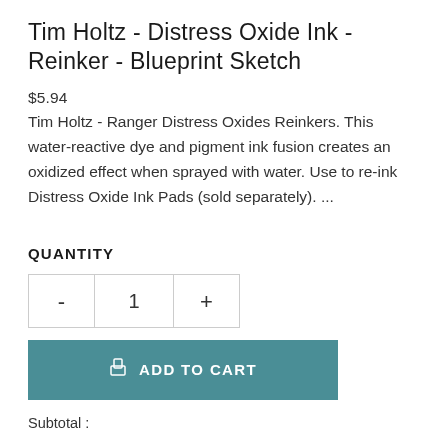Tim Holtz - Distress Oxide Ink - Reinker - Blueprint Sketch
$5.94
Tim Holtz - Ranger Distress Oxides Reinkers. This water-reactive dye and pigment ink fusion creates an oxidized effect when sprayed with water. Use to re-ink Distress Oxide Ink Pads (sold separately). ...
QUANTITY
Subtotal :